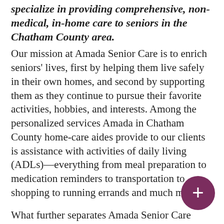specialize in providing comprehensive, non-medical, in-home care to seniors in the Chatham County area.
Our mission at Amada Senior Care is to enrich seniors' lives, first by helping them live safely in their own homes, and second by supporting them as they continue to pursue their favorite activities, hobbies, and interests. Among the personalized services Amada in Chatham County home-care aides provide to our clients is assistance with activities of daily living (ADLs)—everything from meal preparation to medication reminders to transportation to shopping to running errands and much more.
What further separates Amada Senior Care from every other company who provides home care in Chatham County? For one, our services at Amada
[Figure (other): Floating action button: a dark purple/maroon circle with a white plus sign (+) in the center, positioned in the bottom-right area of the page.]